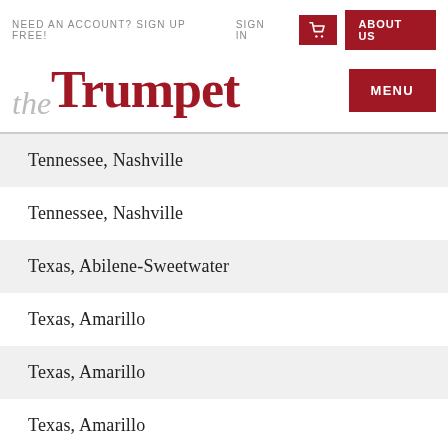NEED AN ACCOUNT? SIGN UP FREE!   SIGN IN   [cart icon]   ABOUT US   MENU
theTrumpet
Tennessee, Nashville
Tennessee, Nashville
Texas, Abilene-Sweetwater
Texas, Amarillo
Texas, Amarillo
Texas, Amarillo